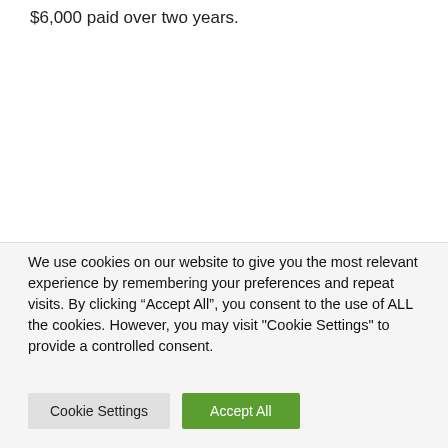$6,000 paid over two years.
We use cookies on our website to give you the most relevant experience by remembering your preferences and repeat visits. By clicking “Accept All”, you consent to the use of ALL the cookies. However, you may visit "Cookie Settings" to provide a controlled consent.